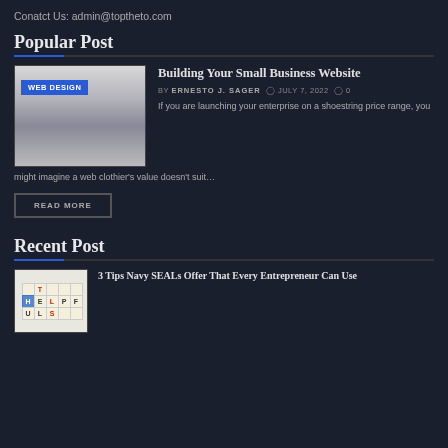Conatct Us: admin@toptheto.com
Popular Post
[Figure (screenshot): Screenshot of a web design website with 'WEB DESIGN' label overlay]
Building Your Small Business Website
BY ERNESTO J. SAGER  JULY 7, 2022  0
If you are launching your enterprise on a shoestring price range, you might imagine a web clothier's value doesn't suit…
READ MORE
Recent Post
[Figure (photo): Photo of Scrabble tiles spelling HELPFUL]
3 Tips Navy SEALs Offer That Every Entrepreneur Can Use